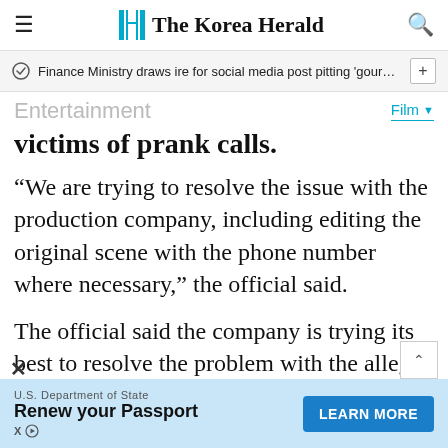The Korea Herald
Finance Ministry draws ire for social media post pitting 'gourmet …
Entertainment
Film
victims of prank calls.
“We are trying to resolve the issue with the production company, including editing the original scene with the phone number where necessary,” the official said.
The official said the company is trying its best to resolve the problem with the alleged
U.S. Department of State
Renew your Passport
LEARN MORE